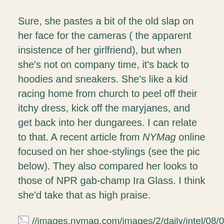Sure, she pastes a bit of the old slap on her face for the cameras ( the apparent insistence of her girlfriend), but when she's not on company time, it's back to hoodies and sneakers. She's like a kid racing home from church to peel off their itchy dress, kick off the maryjanes, and get back into her dungarees. I can relate to that. A recent article from NYMag online focused on her shoe-stylings (see the pic below). They also compared her looks to those of NPR gab-champ Ira Glass. I think she'd take that as high praise.
[Figure (other): Broken image placeholder with URL //images.nymag.com/images/2/daily/intel/08/08/28... and text 'cannot be displayed, because it contai...']